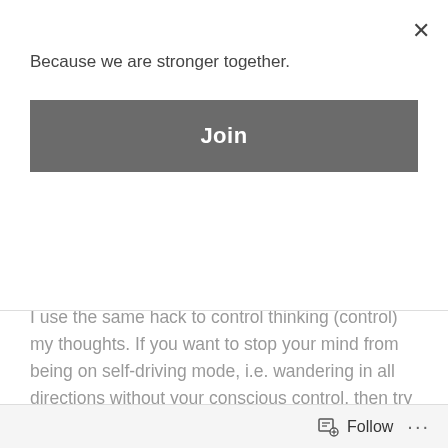×
Because we are stronger together.
Join
I use the same hack to control thinking (control) my thoughts. If you want to stop your mind from being on self-driving mode, i.e. wandering in all directions without your conscious control, then try this.
Think of one or two most important things in your life – partner, occupation or house.
Using 'Partner' for instance, go back to the starting point of how you ended up with your partner. What led to the circumstances that got you together? Go back.
Follow
···